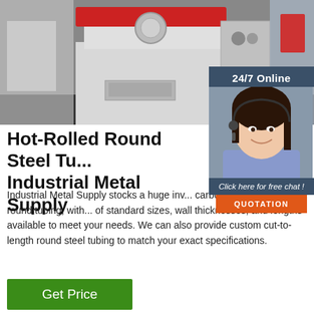[Figure (photo): Industrial machine (likely a steel tube processing machine) with workers on either side in a factory setting]
[Figure (photo): 24/7 Online customer service representative (woman with headset, smiling) with overlay panel including 'Click here for free chat!' text and orange QUOTATION button]
Hot-Rolled Round Steel Tu... Industrial Metal Supply
Industrial Metal Supply stocks a huge inv... carbon steel and alloy round tubing, with... of standard sizes, wall thicknesses, and lengths available to meet your needs. We can also provide custom cut-to-length round steel tubing to match your exact specifications.
Get Price